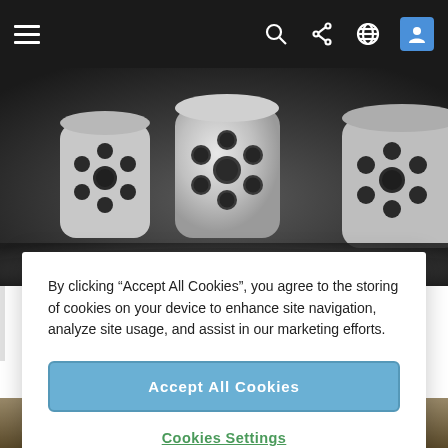[Figure (screenshot): Mobile website top navigation bar with hamburger menu icon on left and search, share, globe, and user icons on the right, on a dark background]
[Figure (photo): Close-up photograph of ceramic catalyst pellets with multiple cylindrical holes, grey/white color, on dark reflective surface]
Catalysts
By clicking “Accept All Cookies”, you agree to the storing of cookies on your device to enhance site navigation, analyze site usage, and assist in our marketing efforts.
Accept All Cookies
Cookies Settings
[Figure (photo): Bottom strip showing a partial image of a rocky or mineral surface in brown and grey tones]